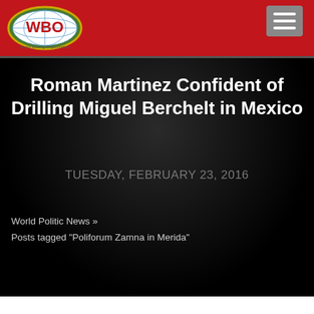WBO World Boxing Organization
Roman Martinez Confident of Drilling Miguel Berchelt in Mexico
TUESDAY, FEBRUARY 23, 2016
World Politic News »
Posts tagged "Poliforum Zamna in Merida"